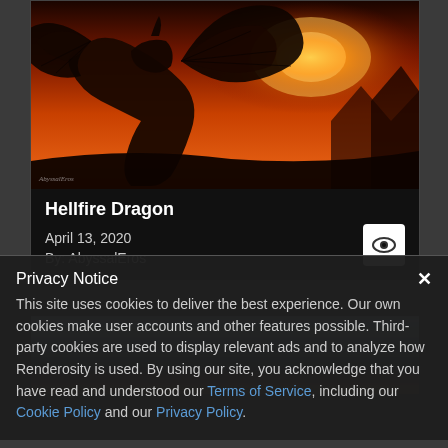[Figure (photo): Dark fantasy digital artwork showing a Hellfire Dragon with bat-like wings silhouetted against a fiery orange-red sunset sky. A watermark signature is visible in the lower left.]
Hellfire Dragon
April 13, 2020
By: AbyssalEros
[Figure (photo): Partially visible blurred nature/outdoor scene image, blue sky and dark branches, appearing below the dragon card.]
Privacy Notice ✕
This site uses cookies to deliver the best experience. Our own cookies make user accounts and other features possible. Third-party cookies are used to display relevant ads and to analyze how Renderosity is used. By using our site, you acknowledge that you have read and understood our Terms of Service, including our Cookie Policy and our Privacy Policy.